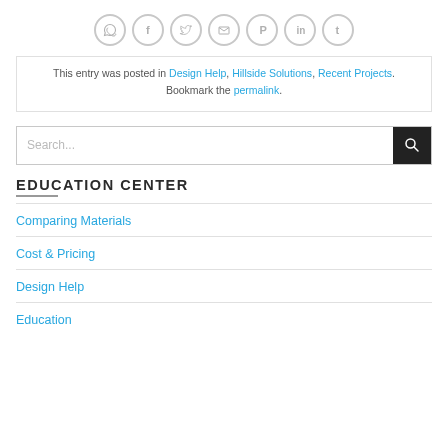[Figure (other): Row of 7 social sharing icon circles (WhatsApp, Facebook, Twitter, Email, Pinterest, LinkedIn, Tumblr) in gray outline style]
This entry was posted in Design Help, Hillside Solutions, Recent Projects. Bookmark the permalink.
Search...
EDUCATION CENTER
Comparing Materials
Cost & Pricing
Design Help
Education